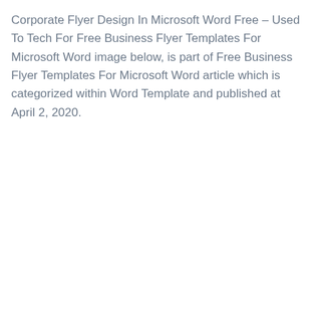Corporate Flyer Design In Microsoft Word Free – Used To Tech For Free Business Flyer Templates For Microsoft Word image below, is part of Free Business Flyer Templates For Microsoft Word article which is categorized within Word Template and published at April 2, 2020.